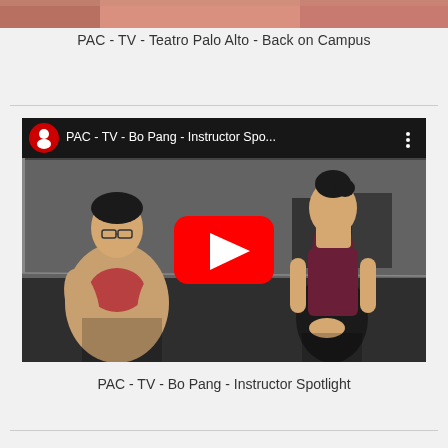[Figure (screenshot): Top portion of a video thumbnail partially visible at top of page (cropped image showing pink/red tones)]
PAC - TV - Teatro Palo Alto - Back on Campus
[Figure (screenshot): YouTube video thumbnail showing two people in a dance studio - a person in a tan blazer on the left and a dancer in a maroon top and black skirt on the right. The video title bar reads 'PAC - TV - Bo Pang - Instructor Spo...' with a red YouTube play button overlay in the center.]
PAC - TV - Bo Pang - Instructor Spotlight